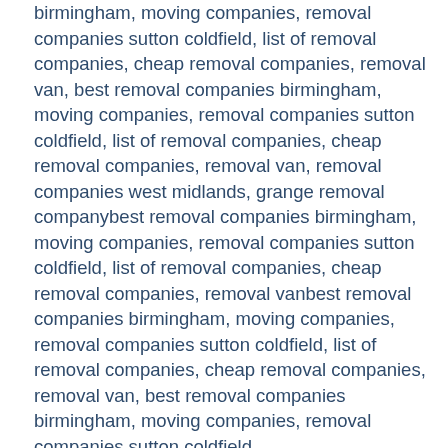birmingham, moving companies, removal companies sutton coldfield, list of removal companies, cheap removal companies, removal van, best removal companies birmingham, moving companies, removal companies sutton coldfield, list of removal companies, cheap removal companies, removal van, removal companies west midlands, grange removal companybest removal companies birmingham, moving companies, removal companies sutton coldfield, list of removal companies, cheap removal companies, removal vanbest removal companies birmingham, moving companies, removal companies sutton coldfield, list of removal companies, cheap removal companies, removal van, best removal companies birmingham, moving companies, removal companies sutton coldfield